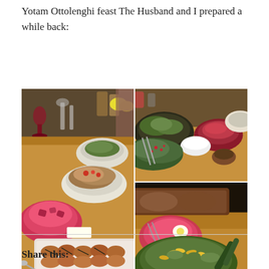Yotam Ottolenghi feast The Husband and I prepared a while back:
[Figure (photo): Collage of four food photographs showing a large spread of Yotam Ottolenghi dishes on a wooden table, including various salads, roasted vegetables, beet dishes, and a baking tray of roasted chicken or potatoes. Top-left shows close-up of salad dishes. Bottom-left shows a salad bowl with yellow petals and other dishes. Right column (tall) shows a long dining table laid with multiple salad plates and a baking dish of roasted food in the foreground.]
Share this: